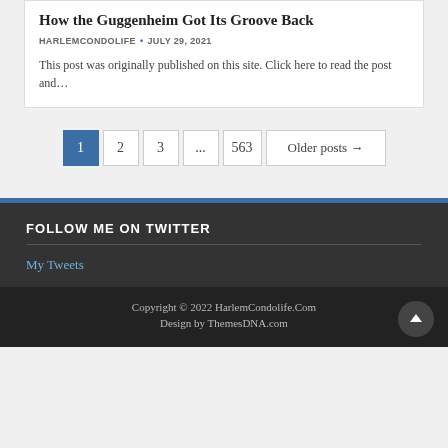How the Guggenheim Got Its Groove Back
HARLEMCONDOLIFE · JULY 29, 2021
This post was originally published on this site. Click here to read the post and…
1  2  3  ...  563  Older posts →
FOLLOW ME ON TWITTER
My Tweets
Copyright © 2022 HarlemCondolife.Com
Design by ThemesDNA.com